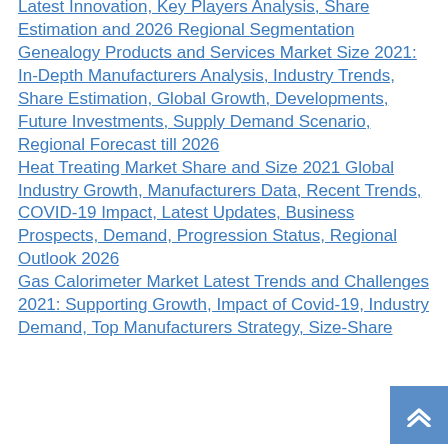Latest Innovation, Key Players Analysis, Share Estimation and 2026 Regional Segmentation
Genealogy Products and Services Market Size 2021: In-Depth Manufacturers Analysis, Industry Trends, Share Estimation, Global Growth, Developments, Future Investments, Supply Demand Scenario, Regional Forecast till 2026
Heat Treating Market Share and Size 2021 Global Industry Growth, Manufacturers Data, Recent Trends, COVID-19 Impact, Latest Updates, Business Prospects, Demand, Progression Status, Regional Outlook 2026
Gas Calorimeter Market Latest Trends and Challenges 2021: Supporting Growth, Impact of Covid-19, Industry Demand, Top Manufacturers Strategy, Size-Share